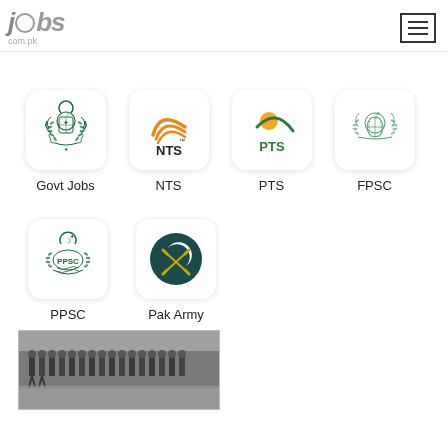jobs.com.pk
[Figure (logo): Govt Jobs logo - Pakistan government emblem with green laurel wreath]
Govt Jobs
[Figure (logo): NTS logo - orange arc lines with NTS text]
NTS
[Figure (logo): PTS logo - orange sun with green swoosh and PTS text]
PTS
[Figure (logo): FPSC logo - Pakistan government green emblem]
FPSC
[Figure (logo): PPSC logo - green emblem with PPSC text]
PPSC
[Figure (logo): Pak Army logo - dark teal circle with crescent moon and crossed swords]
Pak Army
[Figure (photo): Black and white photo of Pakistan Army soldiers marching in formation]